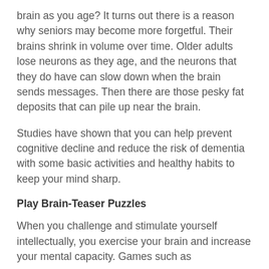brain as you age? It turns out there is a reason why seniors may become more forgetful. Their brains shrink in volume over time. Older adults lose neurons as they age, and the neurons that they do have can slow down when the brain sends messages. Then there are those pesky fat deposits that can pile up near the brain.
Studies have shown that you can help prevent cognitive decline and reduce the risk of dementia with some basic activities and healthy habits to keep your mind sharp.
Play Brain-Teaser Puzzles
When you challenge and stimulate yourself intellectually, you exercise your brain and increase your mental capacity. Games such as